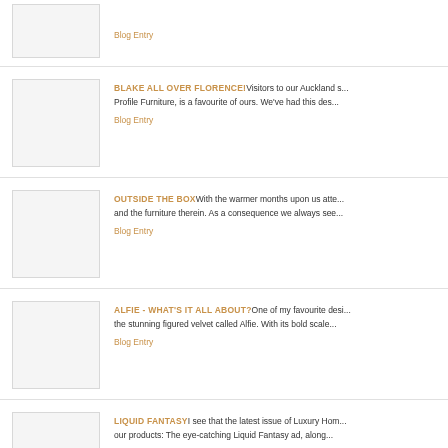Blog Entry
BLAKE ALL OVER FLORENCE! Visitors to our Auckland s... Profile Furniture, is a favourite of ours. We've had this des...
Blog Entry
OUTSIDE THE BOX With the warmer months upon us atte... and the furniture therein. As a consequence we always see...
Blog Entry
ALFIE - WHAT'S IT ALL ABOUT? One of my favourite desi... the stunning figured velvet called Alfie. With its bold scale...
Blog Entry
LIQUID FANTASY I see that the latest issue of Luxury Hom... our products: The eye-catching Liquid Fantasy ad, along...